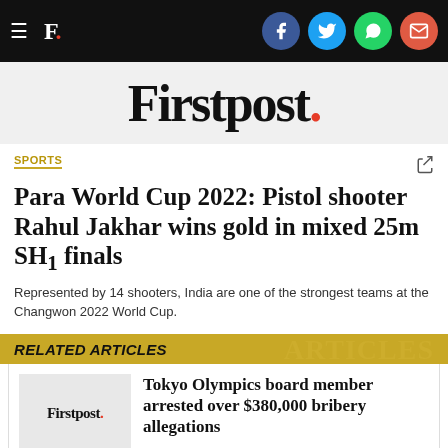Firstpost. [navigation bar with social icons: Facebook, Twitter, WhatsApp, Email]
Firstpost.
SPORTS
Para World Cup 2022: Pistol shooter Rahul Jakhar wins gold in mixed 25m SH1 finals
Represented by 14 shooters, India are one of the strongest teams at the Changwon 2022 World Cup.
RELATED ARTICLES
Tokyo Olympics board member arrested over $380,000 bribery allegations